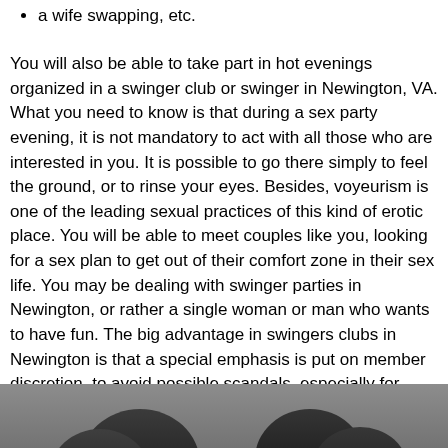a wife swapping, etc.
You will also be able to take part in hot evenings organized in a swinger club or swinger in Newington, VA. What you need to know is that during a sex party evening, it is not mandatory to act with all those who are interested in you. It is possible to go there simply to feel the ground, or to rinse your eyes. Besides, voyeurism is one of the leading sexual practices of this kind of erotic place. You will be able to meet couples like you, looking for a sex plan to get out of their comfort zone in their sex life. You may be dealing with swinger parties in Newington, or rather a single woman or man who wants to have fun. The big advantage in swingers clubs in Newington is that a special emphasis is put on member discretion, to avoid possible scandals, especially for members who are actually public figures. You will therefore have the guarantee that in all circumstances, the organizers will take care to preserve your identity.
[Figure (photo): Black and white photograph showing two people, partially visible at the bottom of the page]